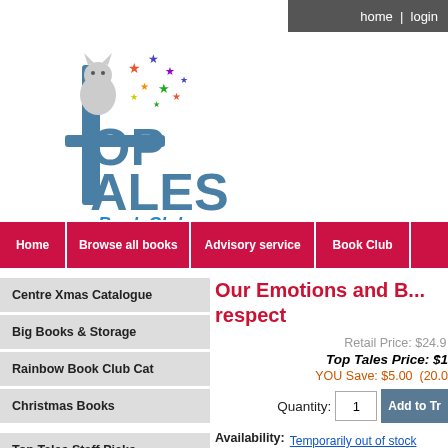home | login
[Figure (logo): Top Tales Book Club logo with cat mascot and colourful stars]
Home | Browse all books | Advisory service | Book Club |
Centre Xmas Catalogue
Big Books & Storage
Rainbow Book Club Cat
Christmas Books
Top Tales Staff Picks
Books Ages 0-3
Books Ages 3-6
Our Emotions and B... respect
Retail Price: $24.9
Top Tales Price: $1
YOU Save: $5.00 (20.0%)
Quantity: 1 Add to Tr...
Availability: Temporarily out of stock Currently no stock on hand.
Author: Sue Graves
Product Category: Top -> ->